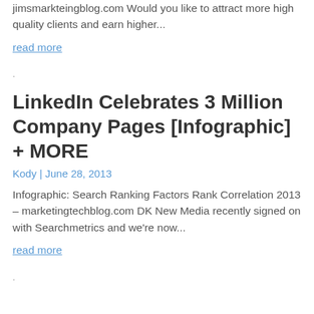jimsmarkteingblog.com Would you like to attract more high quality clients and earn higher...
read more
.
LinkedIn Celebrates 3 Million Company Pages [Infographic] + MORE
Kody | June 28, 2013
Infographic: Search Ranking Factors Rank Correlation 2013 – marketingtechblog.com DK New Media recently signed on with Searchmetrics and we're now...
read more
.